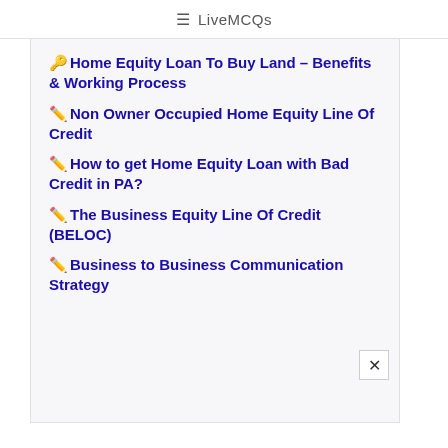≡ LiveMCQs
🔑Home Equity Loan To Buy Land – Benefits & Working Process
✏️Non Owner Occupied Home Equity Line Of Credit
✏️How to get Home Equity Loan with Bad Credit in PA?
✏️The Business Equity Line Of Credit (BELOC)
✏️Business to Business Communication Strategy